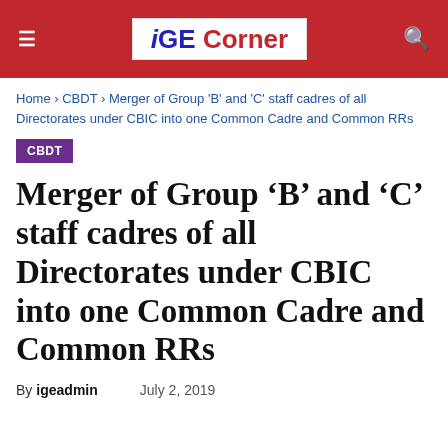iGE Corner
Home › CBDT › Merger of Group 'B' and 'C' staff cadres of all Directorates under CBIC into one Common Cadre and Common RRs
CBDT
Merger of Group ‘B’ and ‘C’ staff cadres of all Directorates under CBIC into one Common Cadre and Common RRs
By igeadmin    July 2, 2019